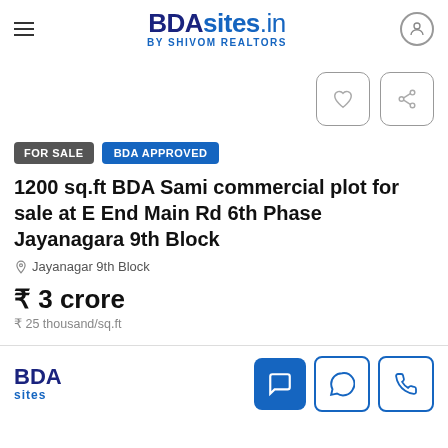BDAsites.in By Shivom Realtors
[Figure (logo): BDAsites.in logo with tagline By Shivom Realtors]
FOR SALE  BDA APPROVED
1200 sq.ft BDA Sami commercial plot for sale at E End Main Rd 6th Phase Jayanagara 9th Block
Jayanagar 9th Block
₹ 3 crore
₹ 25 thousand/sq.ft
BDA sites